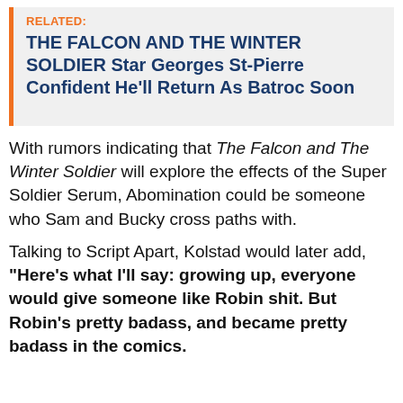RELATED: THE FALCON AND THE WINTER SOLDIER Star Georges St-Pierre Confident He'll Return As Batroc Soon
With rumors indicating that The Falcon and The Winter Soldier will explore the effects of the Super Soldier Serum, Abomination could be someone who Sam and Bucky cross paths with.
Talking to Script Apart, Kolstad would later add, "Here's what I'll say: growing up, everyone would give someone like Robin shit. But Robin's pretty badass, and became pretty badass in the comics.